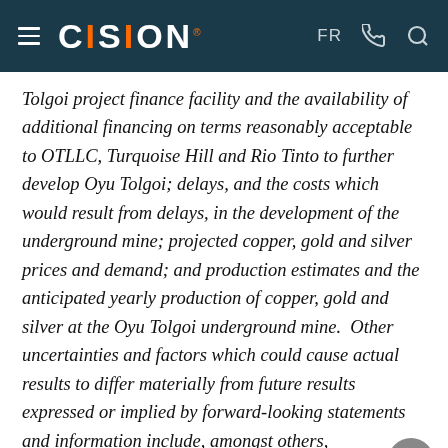CISION
Tolgoi project finance facility and the availability of additional financing on terms reasonably acceptable to OTLLC, Turquoise Hill and Rio Tinto to further develop Oyu Tolgoi; delays, and the costs which would result from delays, in the development of the underground mine; projected copper, gold and silver prices and demand; and production estimates and the anticipated yearly production of copper, gold and silver at the Oyu Tolgoi underground mine.  Other uncertainties and factors which could cause actual results to differ materially from future results expressed or implied by forward-looking statements and information include, amongst others, unanticipated costs,